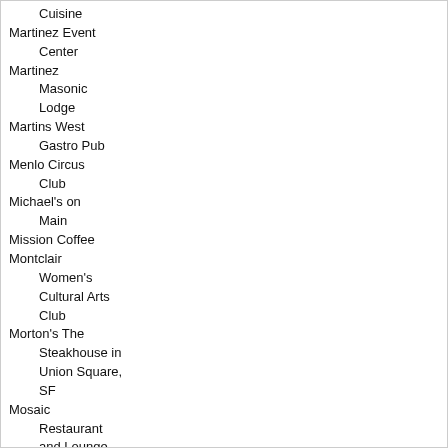Cuisine
Martinez Event Center
Martinez Masonic Lodge
Martins West Gastro Pub
Menlo Circus Club
Michael's on Main
Mission Coffee
Montclair Women's Cultural Arts Club
Morton's The Steakhouse in Union Square, SF
Mosaic Restaurant and Lounge
Mountain Mike's Pizza
Neptune's at Pier 39
New Delhi Restaurant
Nicolino's Garden Restaurant & Banquet Rooms
Nordstrom's Cafe - Stoneridge
Norm's Place
Norm's Place
Nourish Grill at